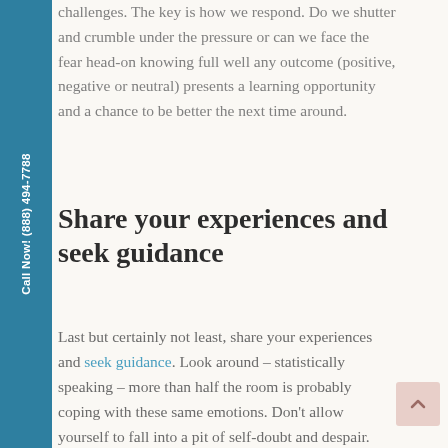challenges. The key is how we respond. Do we shutter and crumble under the pressure or can we face the fear head-on knowing full well any outcome (positive, negative or neutral) presents a learning opportunity and a chance to be better the next time around.
Share your experiences and seek guidance
Last but certainly not least, share your experiences and seek guidance. Look around – statistically speaking – more than half the room is probably coping with these same emotions. Don't allow yourself to fall into a pit of self-doubt and despair. Verbalize those feelings with others and share shortcomings and successes
Call Now! (888) 494-7788